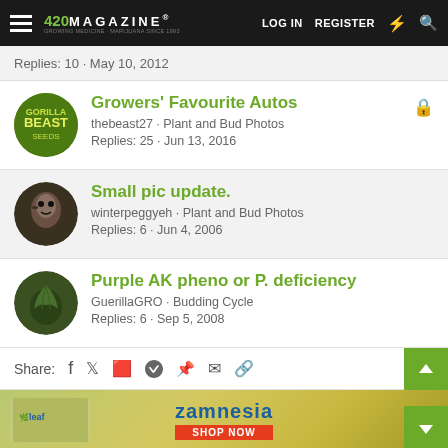420 Magazine | LOG IN | REGISTER
Replies: 10 · May 10, 2012
Growers' Favourite Autos
thebeast27 · Plant and Bud Photos
Replies: 25 · Jun 13, 2016
Small pic update.
winterpeggyeh · Plant and Bud Photos
Replies: 6 · Jun 4, 2006
Purple AK pheno or P. deficiency
GuerillaGRO · Budding Cycle
Replies: 6 · Sep 5, 2008
Share:
[Figure (other): Zamnesia advertisement banner with logo and SHOP NOW button]